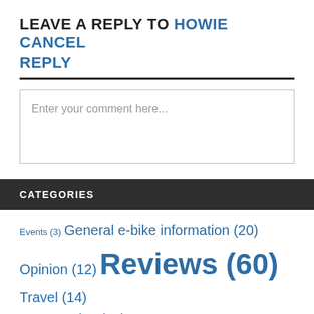LEAVE A REPLY TO HOWIE CANCEL REPLY
Enter your comment here...
CATEGORIES
Events (3)
General e-bike information (20)
Opinion (12)
Reviews (60)
Travel (14)
User Stories (10)